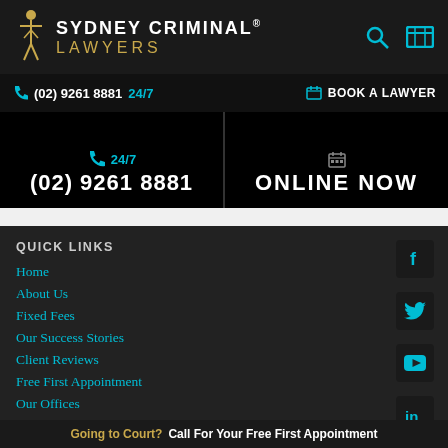[Figure (logo): Sydney Criminal Lawyers logo with golden figure of justice and text]
(02) 9261 8881 24/7
BOOK A LAWYER
(02) 9261 8881
ONLINE NOW
QUICK LINKS
Home
About Us
Fixed Fees
Our Success Stories
Client Reviews
Free First Appointment
Our Offices
Going to Court? Call For Your Free First Appointment